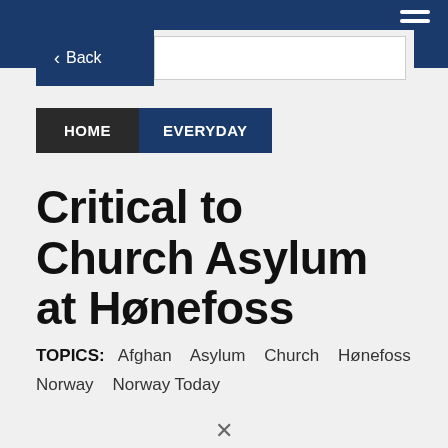Back
HOME  EVERYDAY
Critical to Church Asylum at Hønefoss
TOPICS: Afghan  Asylum  Church  Hønefoss  Norway  Norway Today